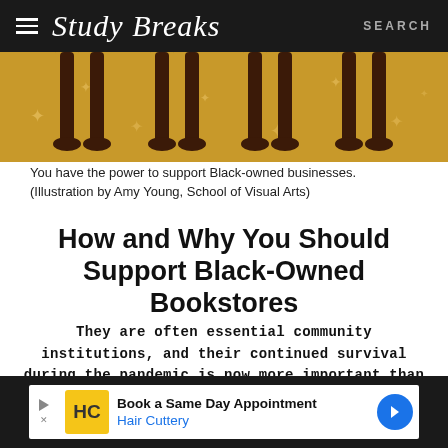Study Breaks — SEARCH
[Figure (illustration): Illustration showing stylized figures/legs on a golden yellow background with star/asterisk decorative elements, partial crop of artwork]
You have the power to support Black-owned businesses. (Illustration by Amy Young, School of Visual Arts)
How and Why You Should Support Black-Owned Bookstores
They are often essential community institutions, and their continued survival during the pandemic is now more important than ever.
[Figure (other): Advertisement: Book a Same Day Appointment — Hair Cuttery]